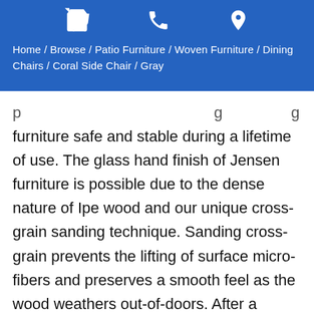Home / Browse / Patio Furniture / Woven Furniture / Dining Chairs / Coral Side Chair / Gray
furniture safe and stable during a lifetime of use. The glass hand finish of Jensen furniture is possible due to the dense nature of Ipe wood and our unique cross-grain sanding technique. Sanding cross-grain prevents the lifting of surface micro-fibers and preserves a smooth feel as the wood weathers out-of-doors. After a completed bench or